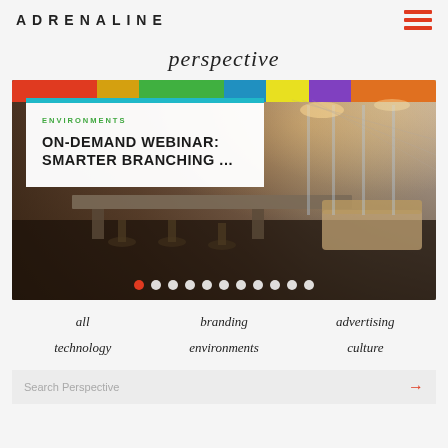ADRENALINE
perspective
[Figure (screenshot): Slideshow image of a modern bank branch interior with colorful ceiling, workstation tables, seating area. Overlaid white card shows category 'ENVIRONMENTS' and headline 'ON-DEMAND WEBINAR: SMARTER BRANCHING ...' with pagination dots below.]
all
branding
advertising
technology
environments
culture
Search Perspective